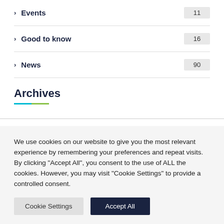> Events 11
> Good to know 16
> News 90
Archives
We use cookies on our website to give you the most relevant experience by remembering your preferences and repeat visits. By clicking "Accept All", you consent to the use of ALL the cookies. However, you may visit "Cookie Settings" to provide a controlled consent.